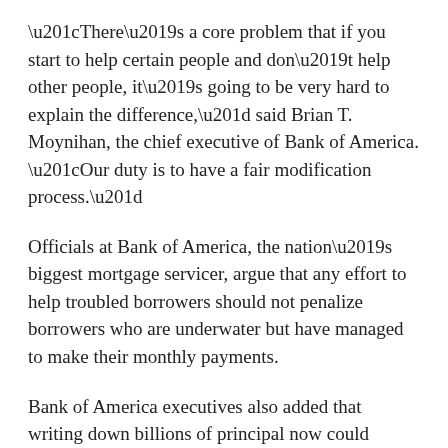“There’s a core problem that if you start to help certain people and don’t help other people, it’s going to be very hard to explain the difference,” said Brian T. Moynihan, the chief executive of Bank of America. “Our duty is to have a fair modification process.”
Officials at Bank of America, the nation’s biggest mortgage servicer, argue that any effort to help troubled borrowers should not penalize borrowers who are underwater but have managed to make their monthly payments.
Bank of America executives also added that writing down billions of principal now could actually retard the recovery by encouraging borrowers to default.
“There may be as much as $1 trillion worth of mortgages that are underwater,” said Terry